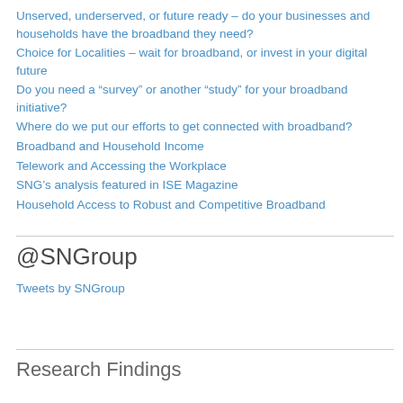Unserved, underserved, or future ready – do your businesses and households have the broadband they need?
Choice for Localities – wait for broadband, or invest in your digital future
Do you need a “survey” or another “study” for your broadband initiative?
Where do we put our efforts to get connected with broadband?
Broadband and Household Income
Telework and Accessing the Workplace
SNG’s analysis featured in ISE Magazine
Household Access to Robust and Competitive Broadband
@SNGroup
Tweets by SNGroup
Research Findings